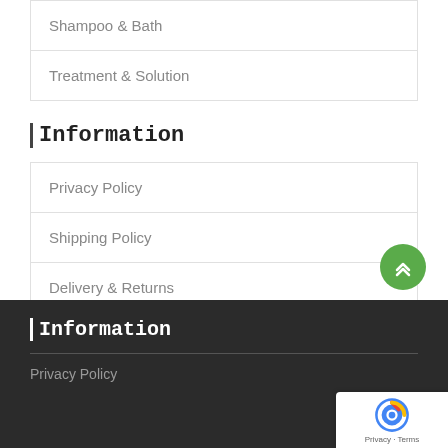Shampoo & Bath
Treatment & Solution
Information
Privacy Policy
Shipping Policy
Delivery & Returns
Terms & Conditions
Information
Privacy Policy